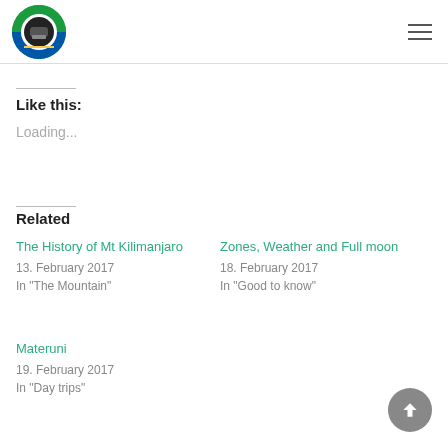Like this:
Loading...
Related
The History of Mt Kilimanjaro
13. February 2017
In "The Mountain"
Zones, Weather and Full moon
18. February 2017
In "Good to know"
Materuni
19. February 2017
In "Day trips"